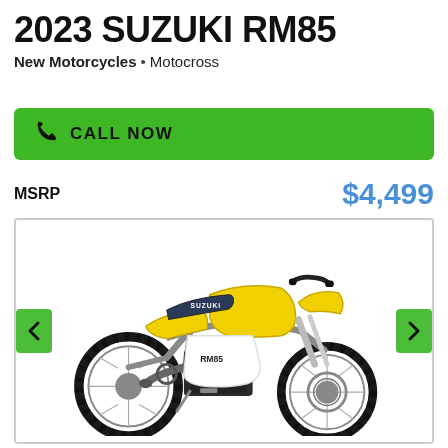2023 SUZUKI RM85
New Motorcycles · Motocross
CALL NOW
MSRP  $4,499
[Figure (photo): 2023 Suzuki RM85 motocross dirt bike in yellow and white colorway, side profile view, with black seat, aluminum frame visible, knobby tires, front disc brake. Navigation arrows on left and right sides of image.]